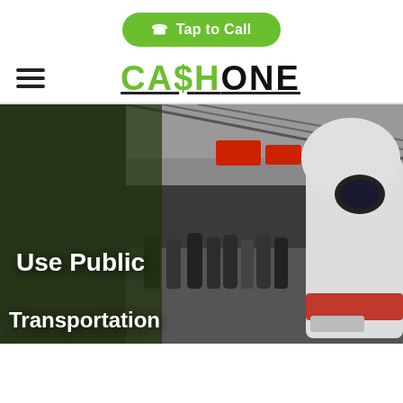[Figure (screenshot): Green rounded button with phone icon and text 'Tap to Call' on white background]
[Figure (logo): CASHONE logo in green and black with dollar sign, underlined]
[Figure (photo): Photo of a busy train station platform with crowds of people and a modern high-speed train. Overlaid text reads 'Use Public Transportation']